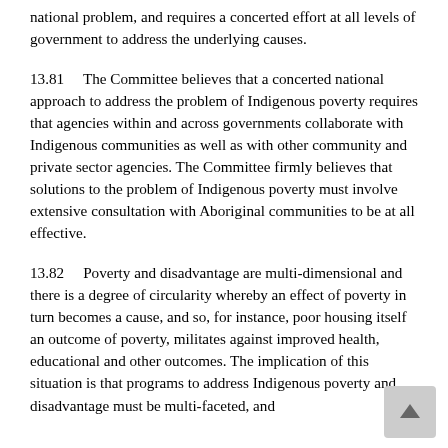national problem, and requires a concerted effort at all levels of government to address the underlying causes.
13.81    The Committee believes that a concerted national approach to address the problem of Indigenous poverty requires that agencies within and across governments collaborate with Indigenous communities as well as with other community and private sector agencies. The Committee firmly believes that solutions to the problem of Indigenous poverty must involve extensive consultation with Aboriginal communities to be at all effective.
13.82    Poverty and disadvantage are multi-dimensional and there is a degree of circularity whereby an effect of poverty in turn becomes a cause, and so, for instance, poor housing itself an outcome of poverty, militates against improved health, educational and other outcomes. The implication of this situation is that programs to address Indigenous poverty and disadvantage must be multi-faceted, and